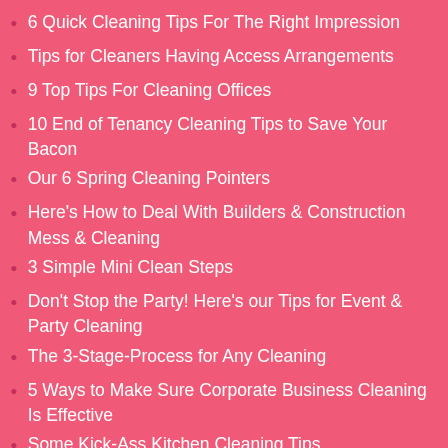6 Quick Cleaning Tips For The Right Impression
Tips for Cleaners Having Access Arrangements
9 Top Tips For Cleaning Offices
10 End of Tenancy Cleaning Tips to Save Your Bacon
Our 6 Spring Cleaning Pointers
Here's How to Deal With Builders & Construction Mess & Cleaning
3 Simple Mini Clean Steps
Don't Stop the Party! Here's our Tips for Event & Party Cleaning
The 3-Stage-Process for Any Cleaning
5 Ways to Make Sure Corporate Business Cleaning Is Effective
Some Kick-Ass Kitchen Cleaning Tips
How to Easily Clean a Student's Home at the End of a Tenancy
7 Easy Stages to Compliant Cleaning
The 4 'I's of Getting Volunteers to Clean Well
The Daddy of Office Cleaning Checklists & Schedules
Essential Points for a Cleaning Risk Assessment